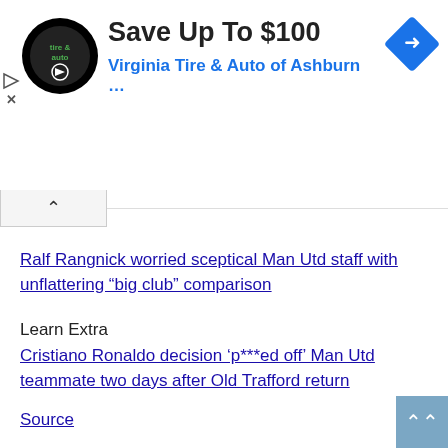[Figure (screenshot): Virginia Tire & Auto advertisement banner with logo, 'Save Up To $100' headline, company name, and blue diamond direction arrow icon]
Ralf Rangnick worried sceptical Man Utd staff with unflattering “big club” comparison
Learn Extra
Cristiano Ronaldo decision ‘p***ed off’ Man Utd teammate two days after Old Trafford return
Source
SHARE
Facebook
Twitter
Pinterest
Linkedin